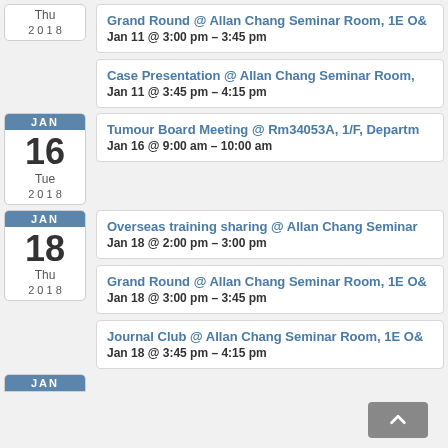Grand Round @ Allan Chang Seminar Room, 1E O& — Jan 11 @ 3:00 pm – 3:45 pm
Case Presentation @ Allan Chang Seminar Room, — Jan 11 @ 3:45 pm – 4:15 pm
Tumour Board Meeting @ Rm34053A, 1/F, Departme — Jan 16 @ 9:00 am – 10:00 am
Overseas training sharing @ Allan Chang Seminar — Jan 18 @ 2:00 pm – 3:00 pm
Grand Round @ Allan Chang Seminar Room, 1E O& — Jan 18 @ 3:00 pm – 3:45 pm
Journal Club @ Allan Chang Seminar Room, 1E O& — Jan 18 @ 3:45 pm – 4:15 pm